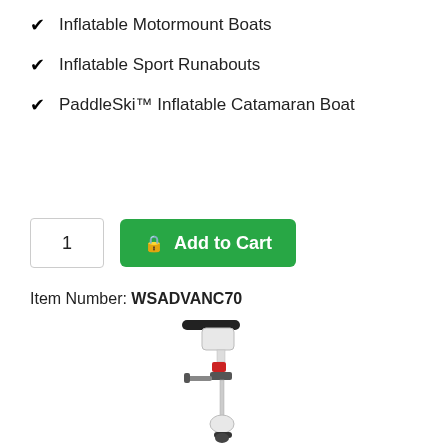✓ Inflatable Motormount Boats
✓ Inflatable Sport Runabouts
✓ PaddleSki™ Inflatable Catamaran Boat
1   Add to Cart
Item Number: WSADVANC70
[Figure (photo): Product photo of a trolling motor (electric outboard motor) shown vertically, white body with black handle, red tag, clamp mount, and propeller at the bottom.]